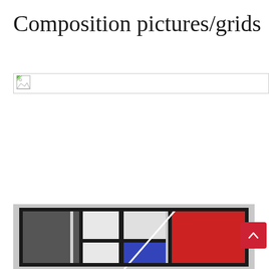Composition pictures/grids
[Figure (other): Broken/missing image placeholder with small icon at top-left showing a torn image symbol]
[Figure (illustration): Mondrian-style geometric composition painting showing rectangles in black, white, gray, red, and blue arranged in a grid with thick black lines. A white diagonal line crosses the composition.]